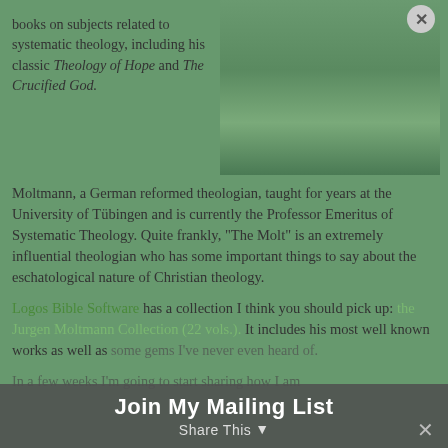books on subjects related to systematic theology, including his classic Theology of Hope and The Crucified God.
[Figure (photo): Portrait photograph of Jürgen Moltmann, an elderly man with glasses wearing a suit, shown from chest up against a greenish background]
Moltmann, a German reformed theologian, taught for years at the University of Tübingen and is currently the Professor Emeritus of Systematic Theology. Quite frankly, "The Molt" is an extremely influential theologian who has some important things to say about the eschatological nature of Christian theology.
Logos Bible Software has a collection I think you should pick up: the Jurgen Moltmann Collection (22 vols.). It includes his most well known works as well as some gems I've never even heard of.
In a few weeks I'm going to start sharing how I am
Join My Mailing List
Share This